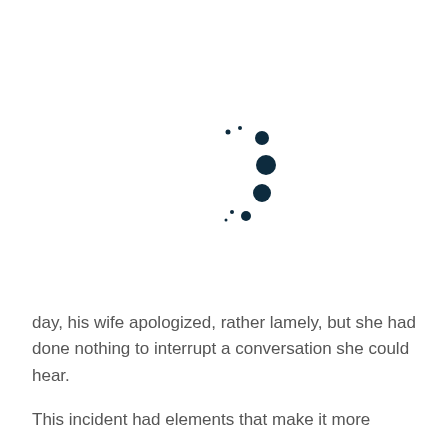[Figure (other): A loading spinner or decorative dot pattern: several small dark navy dots of varying sizes arranged in an arc/curve pattern suggesting rotation or a stylized question mark/colon shape.]
day, his wife apologized, rather lamely, but she had done nothing to interrupt a conversation she could hear.

This incident had elements that make it more